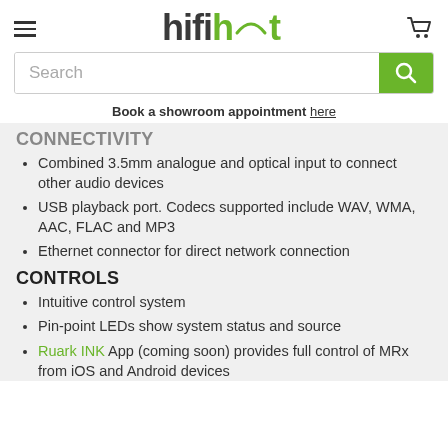hifihut
Search
Book a showroom  appointment here
CONNECTIVITY
Combined 3.5mm analogue and optical input to connect other audio devices
USB playback port. Codecs supported include WAV, WMA, AAC, FLAC and MP3
Ethernet connector for direct network connection
CONTROLS
Intuitive control system
Pin-point LEDs show system status and source
Ruark INK App (coming soon) provides full control of MRx from iOS and Android devices